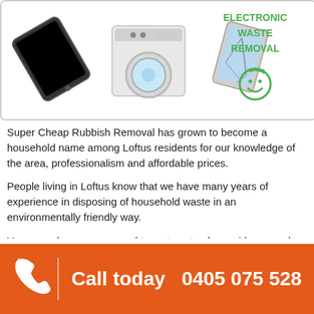[Figure (illustration): Electronic waste removal banner showing electronic devices (tablet, washing machine, smartphone screen) on left side and green text 'ELECTRONIC WASTE REMOVAL' with a recycling-style smiley icon on the right side]
Super Cheap Rubbish Removal has grown to become a household name among Loftus residents for our knowledge of the area, professionalism and affordable prices.
People living in Loftus know that we have many years of experience in disposing of household waste in an environmentally friendly way.
You can rely on our removal team to not only provide same-day service, but to arrive when we say we will and provide outstanding service.
Super Cheap Rubbish Removal ensures that Loftus remains beautiful by ensuring we remove every trace of rubbish from our clients' addresses.
We also provide a quote for…
Call today  0405 075 528